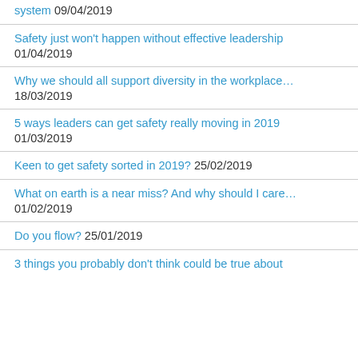system 09/04/2019
Safety just won't happen without effective leadership 01/04/2019
Why we should all support diversity in the workplace… 18/03/2019
5 ways leaders can get safety really moving in 2019 01/03/2019
Keen to get safety sorted in 2019? 25/02/2019
What on earth is a near miss? And why should I care… 01/02/2019
Do you flow? 25/01/2019
3 things you probably don't think could be true about